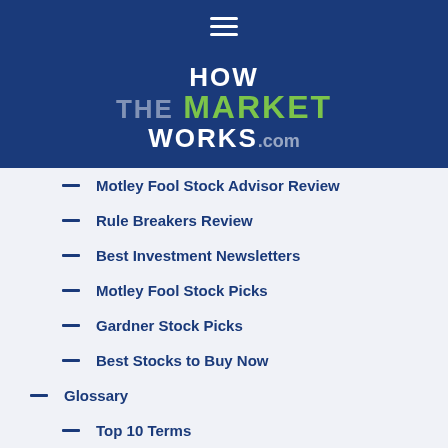[Figure (logo): HowTheMarketWorks.com logo with hamburger menu navigation bar on dark blue background]
Motley Fool Stock Advisor Review
Rule Breakers Review
Best Investment Newsletters
Motley Fool Stock Picks
Gardner Stock Picks
Best Stocks to Buy Now
Glossary
Top 10 Terms
A - G
H - M
N - T
U - Z